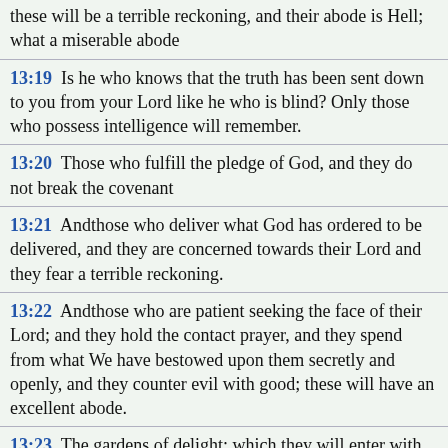these will be a terrible reckoning, and their abode is Hell; what a miserable abode
13:19  Is he who knows that the truth has been sent down to you from your Lord like he who is blind? Only those who possess intelligence will remember.
13:20  Those who fulfill the pledge of God, and they do not break the covenant
13:21  Andthose who deliver what God has ordered to be delivered, and they are concerned towards their Lord and they fear a terrible reckoning.
13:22  Andthose who are patient seeking the face of their Lord; and they hold the contact prayer, and they spend from what We have bestowed upon them secretly and openly, and they counter evil with good; these will have an excellent abode.
13:23  The gardens of delight; which they will enter with those who are good doers from their fathers and their mates and their progeny. And the angels will enter upon them from every gate
13:24  "Peace be upon you for what you have been patient for. Excellent indeed is the final abode.
13:25  As for those who break their pledge with God after having made its covenant, and they withhold what God has ordered to be